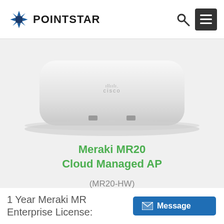[Figure (logo): PointStar logo with blue/navy star icon and POINTSTAR wordmark in bold sans-serif]
[Figure (photo): Cisco Meraki MR20 wireless access point hardware - white rounded rectangular device with Cisco branding on top surface, viewed from front-side angle]
Meraki MR20 Cloud Managed AP
(MR20-HW)
1 Year Meraki MR Enterprise License: